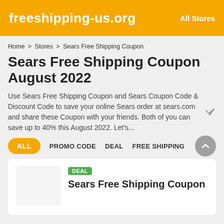freeshipping-us.org   All Stores
Home > Stores > Sears Free Shipping Coupon
Sears Free Shipping Coupon August 2022
Use Sears Free Shipping Coupon and Sears Coupon Code & Discount Code to save your online Sears order at sears.com and share these Coupon with your friends. Both of you can save up to 40% this August 2022. Let's...
ALL   PROMO CODE   DEAL   FREE SHIPPING
DEAL
Sears Free Shipping Coupon